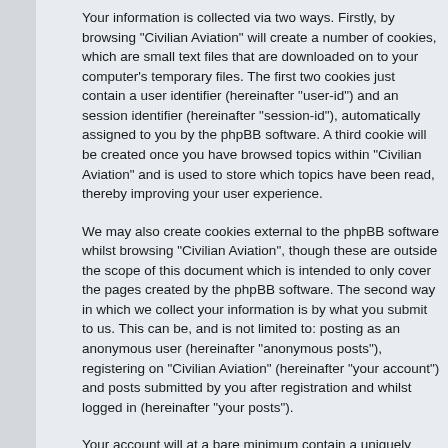Your information is collected via two ways. Firstly, by browsing "Civilian Aviation" will create a number of cookies, which are small text files that are downloaded on to your computer's temporary files. The first two cookies just contain a user identifier (hereinafter "user-id") and an session identifier (hereinafter "session-id"), automatically assigned to you by the phpBB software. A third cookie will be created once you have browsed topics within "Civilian Aviation" and is used to store which topics have been read, thereby improving your user experience.
We may also create cookies external to the phpBB software whilst browsing "Civilian Aviation", though these are outside the scope of this document which is intended to only cover the pages created by the phpBB software. The second way in which we collect your information is by what you submit to us. This can be, and is not limited to: posting as an anonymous user (hereinafter "anonymous posts"), registering on "Civilian Aviation" (hereinafter "your account") and posts submitted by you after registration and whilst logged in (hereinafter "your posts").
Your account will at a bare minimum contain a uniquely identifiable name (hereinafter "your user name"), a personal password used for logging into your account (hereinafter "your password") and a personal, valid email address (hereinafter "your email"). Your information for your account at "Civilian Aviation" is protected by data-protection laws applicable in the country that hosts us. Any information beyond your user name, your password, and your email address required by "Civilian Aviation" during the registration process is either mandatory or optional, at the discretion of "Civilian Aviation". In all cases, you have the option of what information in your account is publicly displayed. Furthermore, within your account, you have the option to opt-in or opt-out of automatically generated emails from the phpBB software.
Your password is ciphered (a one-way hash) so that it is secure. However, it is recommended that you do not reuse the same password across a number of different websites. Your password is the means of accessing your account at "Civilian Aviation", so please guard it carefully and under no circumstances will anyone affiliated with "Civilian Aviation", phpBB or another 3rd party, legitimately ask you for your password.